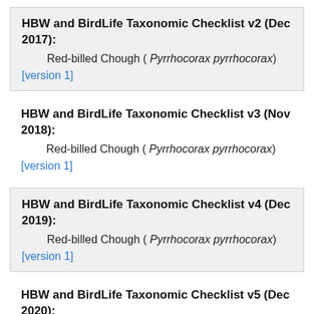HBW and BirdLife Taxonomic Checklist v2 (Dec 2017):
    Red-billed Chough ( Pyrrhocorax pyrrhocorax)
[version 1]
HBW and BirdLife Taxonomic Checklist v3 (Nov 2018):
    Red-billed Chough ( Pyrrhocorax pyrrhocorax)
[version 1]
HBW and BirdLife Taxonomic Checklist v4 (Dec 2019):
    Red-billed Chough ( Pyrrhocorax pyrrhocorax)
[version 1]
HBW and BirdLife Taxonomic Checklist v5 (Dec 2020):
    Red-billed Chough ( Pyrrhocorax pyrrhocorax)